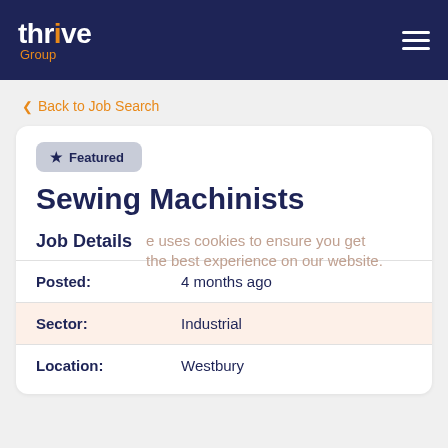thrive Group
Back to Job Search
Featured
Sewing Machinists
Job Details
Posted: 4 months ago
Sector: Industrial
Location: Westbury